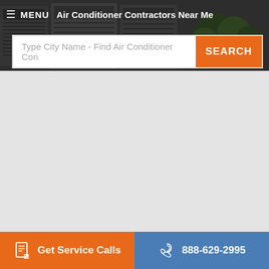MENU  Air Conditioner Contractors Near Me
[Figure (screenshot): Air conditioner units background photo in header]
Type City Name - Find Air Conditioner Con
SEARCH
Get Service Calls
888-629-2995